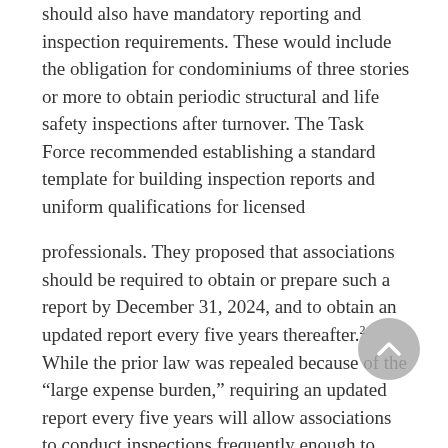should also have mandatory reporting and inspection requirements. These would include the obligation for condominiums of three stories or more to obtain periodic structural and life safety inspections after turnover. The Task Force recommended establishing a standard template for building inspection reports and uniform qualifications for licensed
professionals. They proposed that associations should be required to obtain or prepare such a report by December 31, 2024, and to obtain an updated report every five years thereafter.2 While the prior law was repealed because of the “large expense burden,” requiring an updated report every five years will allow associations to conduct inspections frequently enough to address issues that can become serious safety risks.
Local Government Preemption Requirements